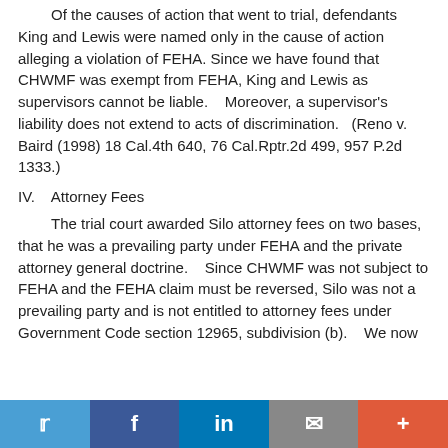Of the causes of action that went to trial, defendants King and Lewis were named only in the cause of action alleging a violation of FEHA. Since we have found that CHWMF was exempt from FEHA, King and Lewis as supervisors cannot be liable.   Moreover, a supervisor's liability does not extend to acts of discrimination.   (Reno v. Baird (1998) 18 Cal.4th 640, 76 Cal.Rptr.2d 499, 957 P.2d 1333.)
IV.   Attorney Fees
The trial court awarded Silo attorney fees on two bases, that he was a prevailing party under FEHA and the private attorney general doctrine.    Since CHWMF was not subject to FEHA and the FEHA claim must be reversed, Silo was not a prevailing party and is not entitled to attorney fees under Government Code section 12965, subdivision (b).   We now